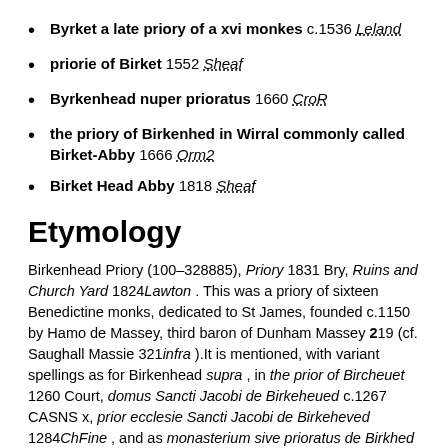Byrket a late priory of a xvi monkes c.1536 Leland
priorie of Birket 1552 Sheaf
Byrkenhead nuper prioratus 1660 CroR
the priory of Birkenhed in Wirral commonly called Birket-Abby 1666 Orm2
Birket Head Abby 1818 Sheaf
Etymology
Birkenhead Priory (100–328885), Priory 1831 Bry, Ruins and Church Yard 1824Lawton . This was a priory of sixteen Benedictine monks, dedicated to St James, founded c.1150 by Hamo de Massey, third baron of Dunham Massey 219 (cf. Saughall Massie 321infra ).It is mentioned, with variant spellings as for Birkenhead supra , in the prior of Bircheuet 1260 Court, domus Sancti Jacobi de Birkeheued c.1267 CASNS x, prior ecclesie Sancti Jacobi de Birkeheved 1284ChFine , and as monasterium sive prioratus de Birkhed 1535 VE, Byrket a late priory of a xvi monkes c.1536 Leland, priorie of Birket 1552 Sheaf, Byrkenhead nuper prioratus 1660CroR, the priory of Birkenhed in Wirral commonly